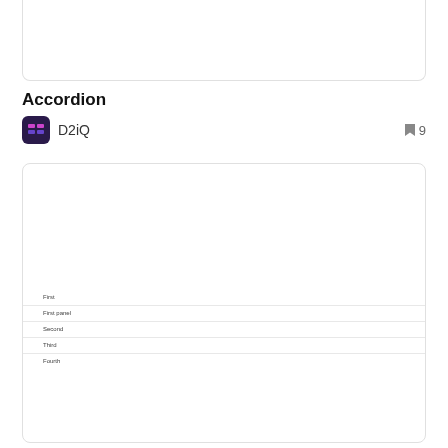[Figure (screenshot): Top portion of a card/panel UI element with border, mostly empty white space]
Accordion
D2iQ  9
[Figure (screenshot): A card/panel showing an accordion UI component with items: First, First panel, Second, Third, Fourth]